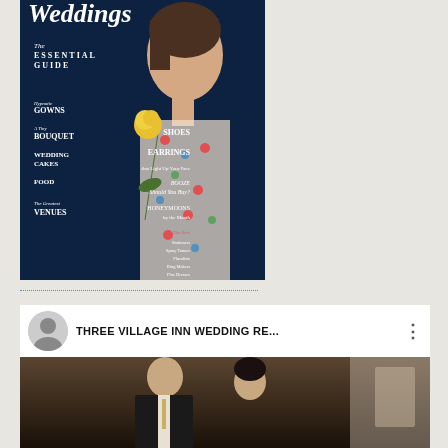[Figure (photo): Magazine cover of 'Weddings - The Essential Guide' showing a woman in profile holding a yellow rose, wearing a floral embroidered dress against a dark navy background. Cover lines include: Hypnotic Gowns, A Tiny Bouquet, Wedding Cakes, Food, The Greatest Venues, Shoes, Earrings, Booze Should You Buy?, Honeymoons by the Month, and a list of vendors.]
[Figure (screenshot): YouTube video thumbnail for 'THREE VILLAGE INN WEDDING RE...' showing a couple in formal attire against a dark background, with a circular channel icon in the top left, video title text, three-dot menu, and a red YouTube play button in the center.]